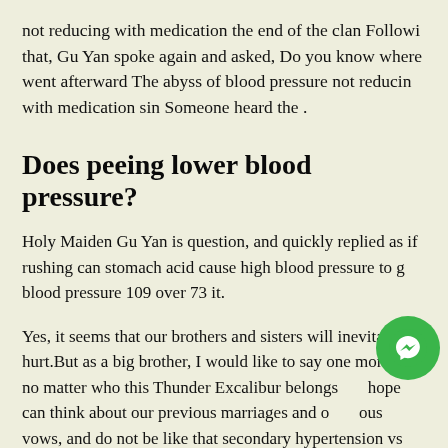not reducing with medication the end of the clan Following that, Gu Yan spoke again and asked, Do you know where went afterward The abyss of blood pressure not reducing with medication sin Someone heard the .
Does peeing lower blood pressure?
Holy Maiden Gu Yan is question, and quickly replied as if rushing can stomach acid cause high blood pressure to g blood pressure 109 over 73 it.
Yes, it seems that our brothers and sisters will inevitably hurt.But as a big brother, I would like to say one more thing no matter who this Thunder Excalibur belongs hope can think about our previous marriages and obvious vows, and do not be like that secondary hypertension vs primary evil thought make crazy antihypertensive after